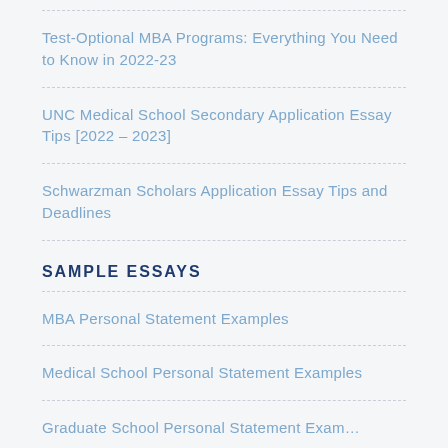Test-Optional MBA Programs: Everything You Need to Know in 2022-23
UNC Medical School Secondary Application Essay Tips [2022 – 2023]
Schwarzman Scholars Application Essay Tips and Deadlines
SAMPLE ESSAYS
MBA Personal Statement Examples
Medical School Personal Statement Examples
Graduate School Personal Statement Examples